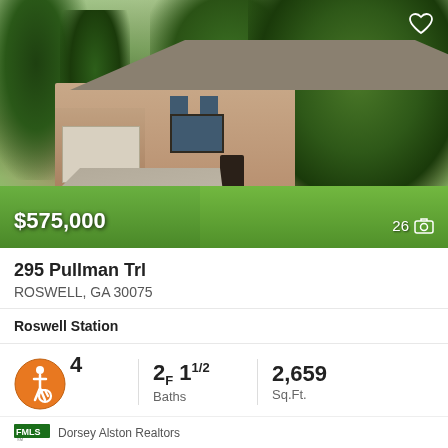[Figure (photo): Exterior photo of a two-story brick colonial home with attached garage, lush green trees in background, manicured lawn, concrete driveway. Price overlay showing $575,000 at bottom left and photo count 26 at bottom right. Heart icon at top right.]
295 Pullman Trl
ROSWELL, GA 30075
Roswell Station
4 beds  2F 1 1/2 Baths  2,659 Sq.Ft.
Dorsey Alston Realtors